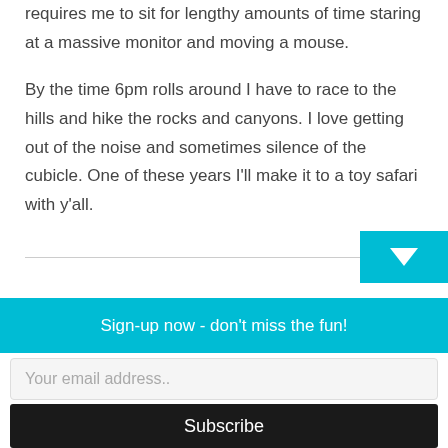requires me to sit for lengthy amounts of time staring at a massive monitor and moving a mouse.
By the time 6pm rolls around I have to race to the hills and hike the rocks and canyons. I love getting out of the noise and sometimes silence of the cubicle. One of these years I'll make it to a toy safari with y'all.
Sign-up now - don't miss the fun!
Your email address..
Subscribe